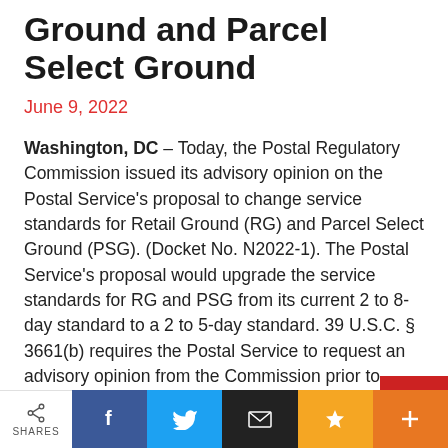Service Standards for Retail Ground and Parcel Select Ground
June 9, 2022
Washington, DC – Today, the Postal Regulatory Commission issued its advisory opinion on the Postal Service's proposal to change service standards for Retail Ground (RG) and Parcel Select Ground (PSG). (Docket No. N2022-1). The Postal Service's proposal would upgrade the service standards for RG and PSG from its current 2 to 8-day standard to a 2 to 5-day standard. 39 U.S.C. § 3661(b) requires the Postal Service to request an advisory opinion from the Commission prior to implementing a change in the
[Figure (infographic): Social sharing bar with share icon and label on the left, followed by Facebook (blue), Twitter (light blue), Email (black), Favorite/star (orange), and Plus (dark orange) buttons.]